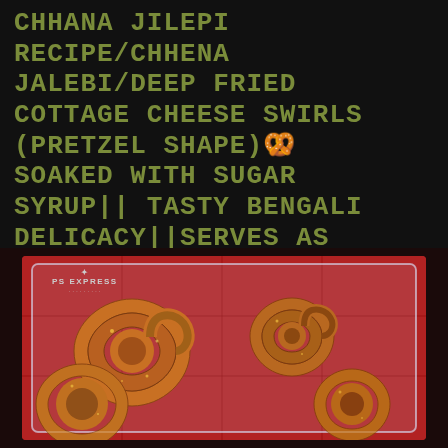CHHANA JILEPI RECIPE/CHHENA JALEBI/DEEP FRIED COTTAGE CHEESE SWIRLS (PRETZEL SHAPE)🥨 SOAKED WITH SUGAR SYRUP|| TASTY BENGALI DELICACY||SERVES AS AN EXCELLENT DESSERT
[Figure (photo): Photo of golden-brown chhena jalebi (deep fried cottage cheese swirls in pretzel/swirl shape) arranged in a clear plastic container on a red background, with a PS Express watermark in the top left corner.]